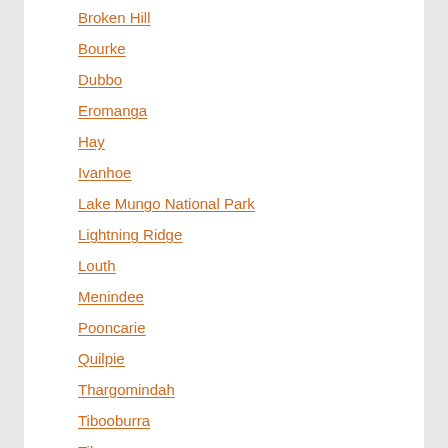Broken Hill
Bourke
Dubbo
Eromanga
Hay
Ivanhoe
Lake Mungo National Park
Lightning Ridge
Louth
Menindee
Pooncarie
Quilpie
Thargomindah
Tibooburra
Tilpa
Walgett